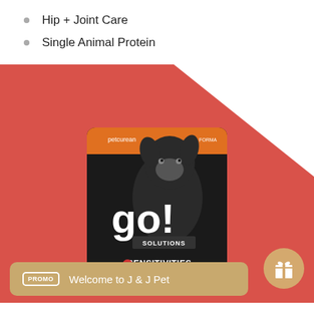Hip + Joint Care
Single Animal Protein
[Figure (photo): Go! Solutions Sensitivities Limited Ingredient dog food bag with a black dog on a red/coral background with a gold promo banner reading 'Welcome to J & J Pet']